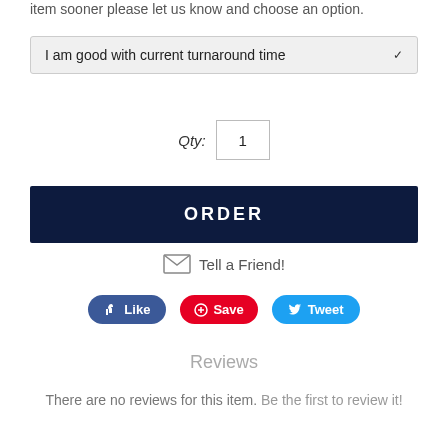item sooner please let us know and choose an option.
I am good with current turnaround time
Qty: 1
ORDER
Tell a Friend!
Like
Save
Tweet
Reviews
There are no reviews for this item. Be the first to review it!